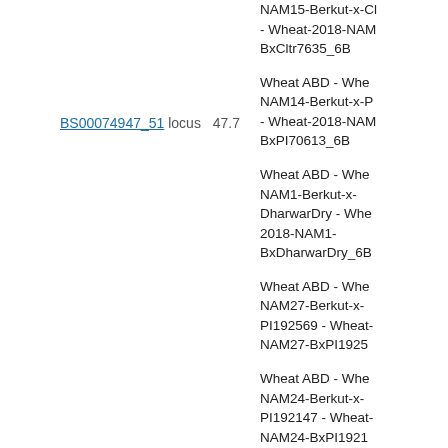NAM15-Berkut-x-Cltr7635 - Wheat-2018-NAM15-BxCltr7635_6B
BS00074947_51   locus   47.7
Wheat ABD - Wheat-NAM14-Berkut-x-PI70613 - Wheat-2018-NAM14-BxPI70613_6B
Wheat ABD - Wheat-NAM1-Berkut-x-DharwarDry - Wheat-2018-NAM1-BxDharwarDry_6B
Wheat ABD - Wheat-NAM27-Berkut-x-PI192569 - Wheat-2018-NAM27-BxPI192569
Wheat ABD - Wheat-NAM24-Berkut-x-PI192147 - Wheat-2018-NAM24-BxPI192147
Wheat ABD - Wheat-NAM3-Berkut-x-PI283147 - Wheat-2018-NAM3-BxPI283147_6B
Wheat ABD - Wheat-NAM1-Berkut-x-